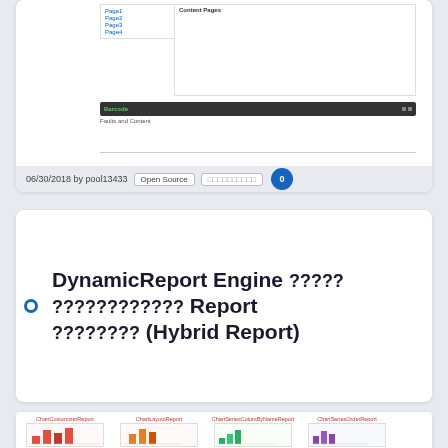[Figure (screenshot): Screenshot of a report viewer showing a sidebar with pages (Page1, Page2, Page3, Page4), a content panel with 'Content Pages' header, a dark toolbar with green 'Barcode' label, and 'Faults and Content' output text, followed by a horizontal rule.]
06/30/2018 by pool13433   Open Source   □□□□□□□□□□   0
DynamicReport Engine ????? ???????????? Report ???????? (Hybrid Report)
[Figure (screenshot): Thumbnails of report examples: ChartCustomizerReport, ChartLayoutReport, ChartSeriesColorsByNameReport, ChartSeriesOrderReport]